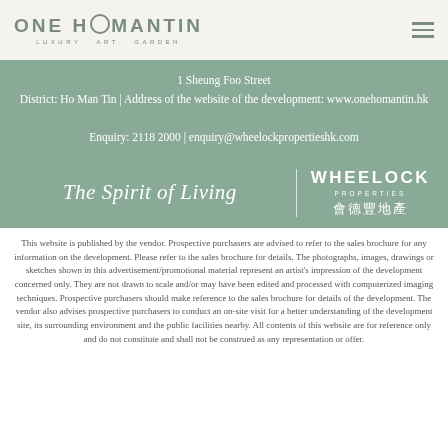ONE HOMANTIN LUXURY · ART · GARDEN
1 Sheung Foo Street
District: Ho Man Tin | Address of the website of the development: www.onehomantin.hk

Enquiry: 2118 2000 | enquiry@wheelockpropertieshk.com
[Figure (logo): The Spirit of Living | WHEELOCK PROPERTIES 會德豐地產]
This website is published by the vendor. Prospective purchasers are advised to refer to the sales brochure for any information on the development. Please refer to the sales brochure for details. The photographs, images, drawings or sketches shown in this advertisement/promotional material represent an artist's impression of the development concerned only. They are not drawn to scale and/or may have been edited and processed with computerized imaging techniques. Prospective purchasers should make reference to the sales brochure for details of the development. The vendor also advises prospective purchasers to conduct an on-site visit for a better understanding of the development site, its surrounding environment and the public facilities nearby. All contents of this website are for reference only and do not constitute and shall not be construed as any representation or offer.